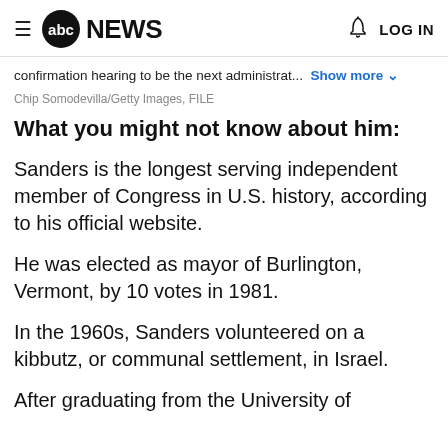abc NEWS  LOG IN
confirmation hearing to be the next administrat...  Show more
Chip Somodevilla/Getty Images, FILE
What you might not know about him:
Sanders is the longest serving independent member of Congress in U.S. history, according to his official website.
He was elected as mayor of Burlington, Vermont, by 10 votes in 1981.
In the 1960s, Sanders volunteered on a kibbutz, or communal settlement, in Israel.
After graduating from the University of